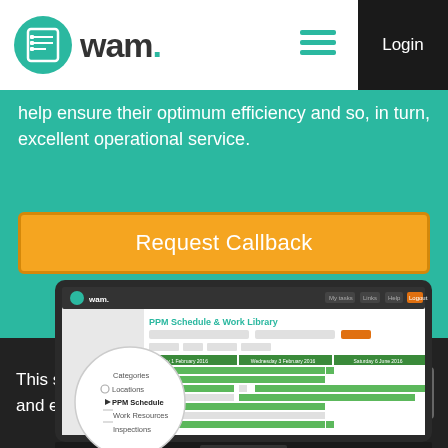wam. [logo] Login
help ensure their optimum efficiency and so, in turn, excellent operational service.
Request Callback
[Figure (screenshot): Screenshot of WAM PPM Schedule & Work Library interface showing a scheduling grid with green task bars, navigation menu with Categories, Locations, PPM Schedule, Work Resources, Inspections items highlighted in a circular callout.]
This site uses cookies to provide functionality and enhance your experience.